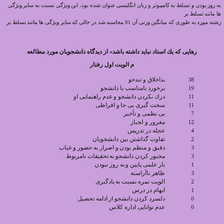به روز بودن و تسلط به کامپیوتر و زبان انگلیسی عنوان شده بود، این ویژگی نسبت به سایر ویژگی ها مانند تسلط بر رشته مورد به طوری که میانگین وزنی آن 81 محاسبه شد در حالی که سایر ویژگی ها مانند تسلط بر
رهایی که یك استاد نباید داشته باشد» از دیدگاه دانشجویان مورد مطالعه
م الویت اول رفتار
| تعداد | رفتار |
| --- | --- |
| 38 | بداخلاق و تندخو |
| 19 | برخورد نامناسب با دانشجو |
| 11 | درك نكردن دانشجو و عدم راهنمایی او |
| 11 | سخت گیری بی جا و افراطی |
| 7 | بی نظمی و تأخیر |
| 12 | مغرور و لجباز |
| 4 | عجله در تدریس |
| 2 | تفاوت گذاشتن بین دانشجویان |
| 3 | دقیق و منظم بودن و اصرار به حضور و غیاب |
| 3 | مجبور كردن دانشجو به تحقیقات نامربوط |
| 1 | بار علمی پایین و به روز نبودن |
| 3 | ظاهر ناآراسته |
| 2 | الویت نمره نسبت به یادگیری |
| 1 | ابهام در درس |
| 0 | دلسرد كردن دانشجو از ادامه تحصیل |
| 0 | عدم توانایی اداره كلاس |